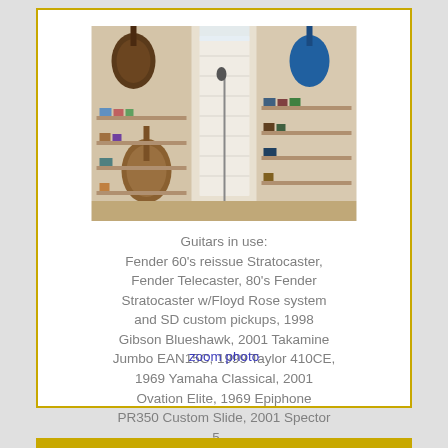[Figure (photo): Interior room with guitars hanging on walls and shelves with accessories, a door in the center, and a microphone stand visible]
Guitars in use: Fender 60's reissue Stratocaster, Fender Telecaster, 80's Fender Stratocaster w/Floyd Rose system and SD custom pickups, 1998 Gibson Blueshawk, 2001 Takamine Jumbo EAN15C, 1999 Taylor 410CE, 1969 Yamaha Classical, 2001 Ovation Elite, 1969 Epiphone PR350 Custom Slide, 2001 Spector 5-...
zoom photo